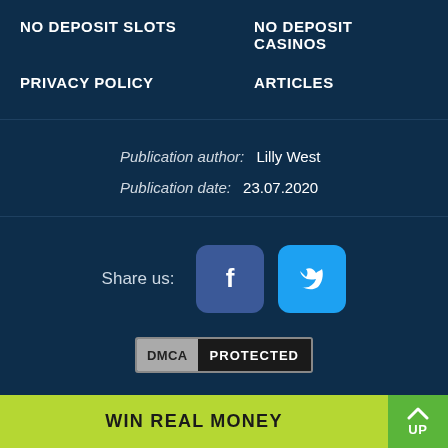NO DEPOSIT SLOTS    NO DEPOSIT CASINOS
PRIVACY POLICY    ARTICLES
Publication author:  Lilly West
Publication date:  23.07.2020
[Figure (other): Share us: Facebook and Twitter social share buttons]
[Figure (other): DMCA PROTECTED badge]
WIN REAL MONEY    UP